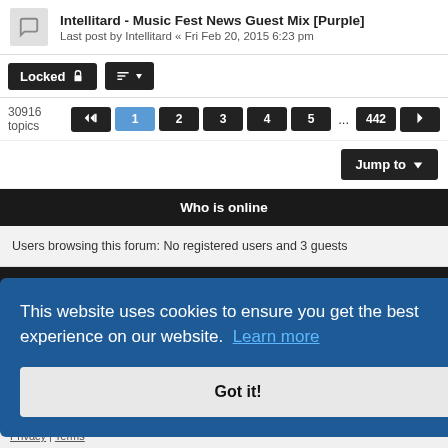Intellitard - Music Fest News Guest Mix [Purple]
Last post by Intellitard « Fri Feb 20, 2015 6:23 pm
Locked | sort | 30916 topics | 1 2 3 4 5 ... 442 | Jump to
Who is online
Users browsing this forum: No registered users and 3 guests
Forum permissions
You cannot post new topics in this forum
This website uses cookies to ensure you get the best experience on our website.  Learn more
Got it!
Privacy | Terms